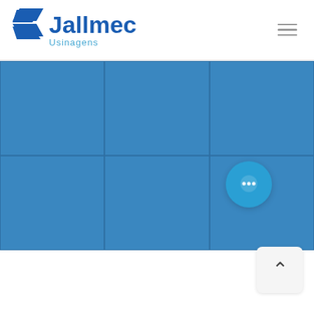Jallmec Usinagens
[Figure (logo): Jallmec Usinagens company logo with blue chevron/arrow icon and company name in blue text]
[Figure (photo): A 3x2 grid of blue photo panels forming a mosaic/collage of machinery or manufacturing images, all in blue tones]
[Figure (other): Circular teal chat button with three dots (speech bubble icon) in bottom right area]
[Figure (other): Scroll-to-top button (rounded rectangle, light grey) with upward caret/chevron arrow]